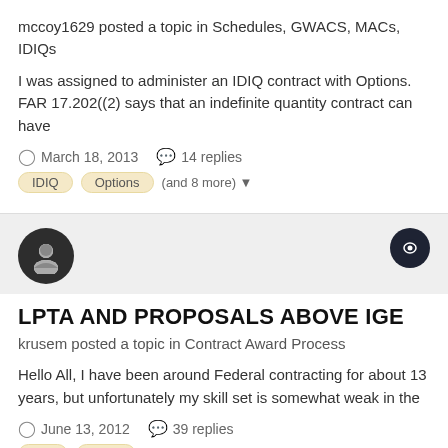mccoy1629 posted a topic in Schedules, GWACS, MACs, IDIQs
I was assigned to administer an IDIQ contract with Options. FAR 17.202((2) says that an indefinite quantity contract can have
March 18, 2013   14 replies
IDIQ   Options   (and 8 more)
LPTA AND PROPOSALS ABOVE IGE
krusem posted a topic in Contract Award Process
Hello All, I have been around Federal contracting for about 13 years, but unfortunately my skill set is somewhat weak in the
June 13, 2012   39 replies
IGE   LPTA   (and 3 more)